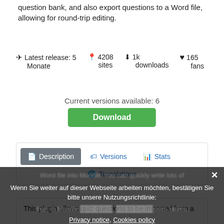question bank, and also export questions to a Word file, allowing for round-trip editing.
Latest release: 5 Monate   4208 sites   1k downloads   165 fans
Current versions available: 6
Download
[Figure (screenshot): Navigation tabs: Description (active, grey), Versions, Stats, Translations]
This plugin allows quiz questions to be imported from a Word file into Moodle. You can quickly write lots of questions in Word (which has better editing capabilities than in Moodle questions), and import them. It supports tables, images, and equations (when created using the Microsoft Office Equation Editor, not MathType/MIns
Wenn Sie weiter auf dieser Webseite arbeiten möchten, bestätigen Sie bitte unsere Nutzungsrichtlinie: Privacy notice, Cookies policy
Fortsetzen